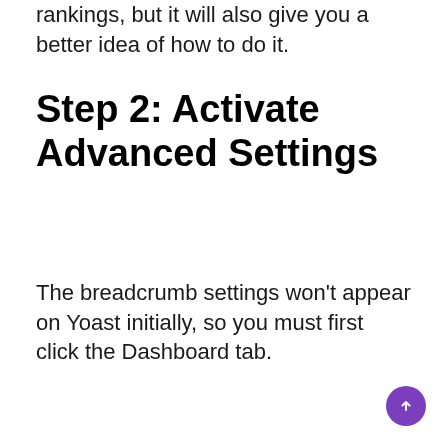rankings, but it will also give you a better idea of how to do it.
Step 2: Activate Advanced Settings
The breadcrumb settings won't appear on Yoast initially, so you must first click the Dashboard tab.